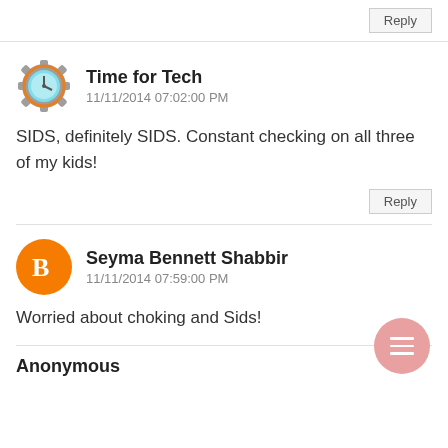Reply
Time for Tech
11/11/2014 07:02:00 PM
SIDS, definitely SIDS. Constant checking on all three of my kids!
Reply
Seyma Bennett Shabbir
11/11/2014 07:59:00 PM
Worried about choking and Sids!
Anonymous